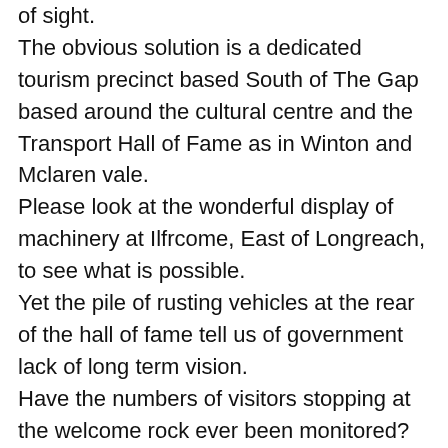of sight.
The obvious solution is a dedicated tourism precinct based South of The Gap based around the cultural centre and the Transport Hall of Fame as in Winton and Mclaren vale.
Please look at the wonderful display of machinery at Ilfrcome, East of Longreach, to see what is possible.
Yet the pile of rusting vehicles at the rear of the hall of fame tell us of government lack of long term vision.
Have the numbers of visitors stopping at the welcome rock ever been monitored?
I recently sat there for just over an hour and counted over 100 visitors being photographed on that rock.
No sign of the NT tourism people to tell and show what we have on offer. Yet this is a captive market